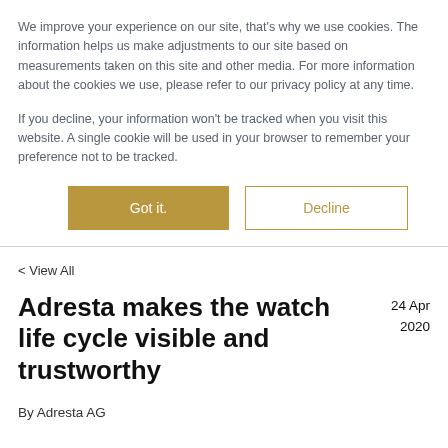We improve your experience on our site, that's why we use cookies. The information helps us make adjustments to our site based on measurements taken on this site and other media. For more information about the cookies we use, please refer to our privacy policy at any time.
If you decline, your information won't be tracked when you visit this website. A single cookie will be used in your browser to remember your preference not to be tracked.
Got it.
Decline
< View All
Adresta makes the watch life cycle visible and trustworthy
24 Apr 2020
By Adresta AG